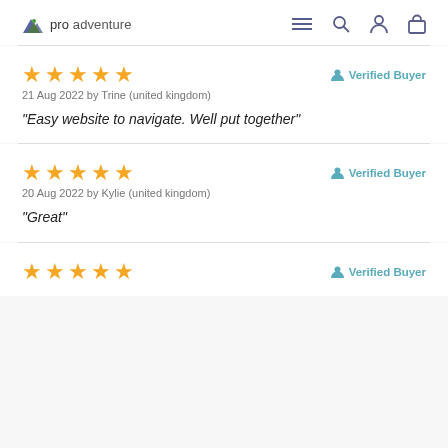pro adventure — navigation header with logo, menu, search, account, cart icons
21 Aug 2022 by Trine (united kingdom) — ★★★★★ — Verified Buyer — "Easy website to navigate. Well put together"
20 Aug 2022 by Kylie (united kingdom) — ★★★★★ — Verified Buyer — "Great"
★★★★★ — Verified Buyer